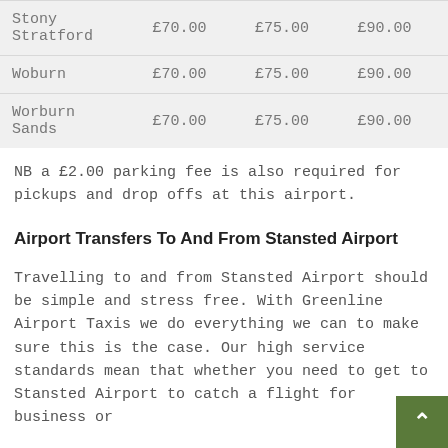| Location | Col1 | Col2 | Col3 |
| --- | --- | --- | --- |
| Stony Stratford | £70.00 | £75.00 | £90.00 |
| Woburn | £70.00 | £75.00 | £90.00 |
| Worburn Sands | £70.00 | £75.00 | £90.00 |
NB a £2.00 parking fee is also required for pickups and drop offs at this airport.
Airport Transfers To And From Stansted Airport
Travelling to and from Stansted Airport should be simple and stress free. With Greenline Airport Taxis we do everything we can to make sure this is the case. Our high service standards mean that whether you need to get to Stansted Airport to catch a flight for business or